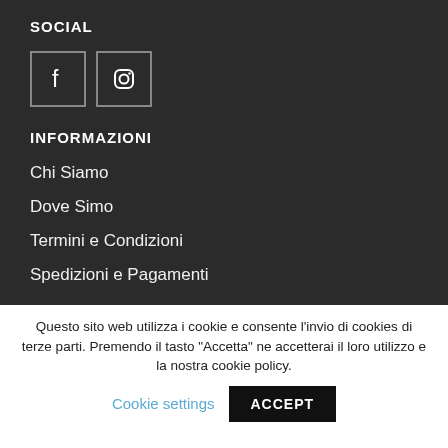SOCIAL
[Figure (other): Facebook and Instagram social media icon boxes]
INFORMAZIONI
Chi Siamo
Dove Simo
Termini e Condizioni
Spedizioni e Pagamenti
Questo sito web utilizza i cookie e consente l'invio di cookies di terze parti. Premendo il tasto "Accetta" ne accetterai il loro utilizzo e la nostra cookie policy. Cookie settings ACCEPT